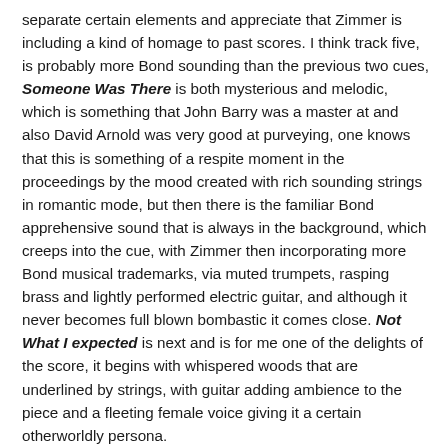separate certain elements and appreciate that Zimmer is including a kind of homage to past scores. I think track five, is probably more Bond sounding than the previous two cues, Someone Was There is both mysterious and melodic, which is something that John Barry was a master at and also David Arnold was very good at purveying, one knows that this is something of a respite moment in the proceedings by the mood created with rich sounding strings in romantic mode, but then there is the familiar Bond apprehensive sound that is always in the background, which creeps into the cue, with Zimmer then incorporating more Bond musical trademarks, via muted trumpets, rasping brass and lightly performed electric guitar, and although it never becomes full blown bombastic it comes close. Not What I expected is next and is for me one of the delights of the score, it begins with whispered woods that are underlined by strings, with guitar adding ambience to the piece and a fleeting female voice giving it a certain otherworldly persona.